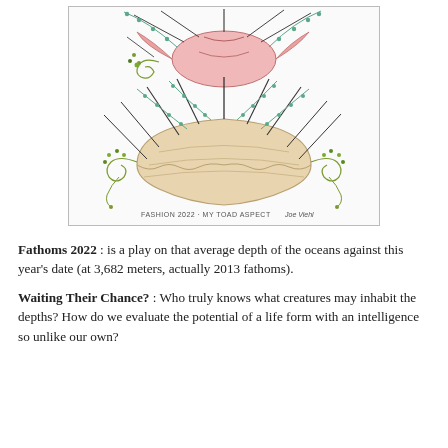[Figure (illustration): Hand-drawn and colored illustration of two fantastical sea-creature-inspired hat or crown designs. The top design features a pink wing-like form with long curved needle-like spines and turquoise beaded strands radiating outward, with small green decorative elements on the left. The bottom design is a large rounded shell or dome shape with multiple long curved spines and beaded strands fanning out, with scroll-like green ornaments on both sides. A signature 'Joe Viehl' and inscription 'FASHION 2022 - MY TOAD ASPECT' appear at the bottom of the illustration.]
Fathoms 2022 : is a play on that average depth of the oceans against this year's date (at 3,682 meters, actually 2013 fathoms).
Waiting Their Chance? : Who truly knows what creatures may inhabit the depths? How do we evaluate the potential of a life form with an intelligence so unlike our own?